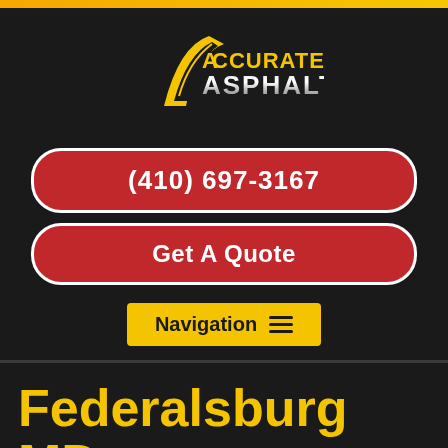[Figure (logo): Accurate Asphalt company logo — stylized yellow road/checkmark graphic with 'ACCURATE ASPHALT' text in yellow and silver on dark background]
(410) 697-3167
Get A Quote
Navigation
Federalsburg MD Paving